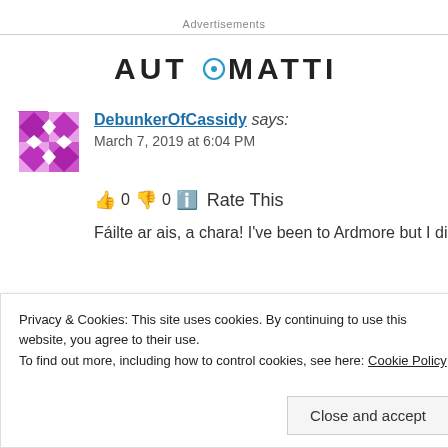Advertisements
[Figure (logo): Automattic logo in bold sans-serif text]
DebunkerOfCassidy says: March 7, 2019 at 6:04 PM
👍 0 👎 0 ℹ Rate This
Fáilte ar ais, a chara! I've been to Ardmore but I didn't
Privacy & Cookies: This site uses cookies. By continuing to use this website, you agree to their use. To find out more, including how to control cookies, see here: Cookie Policy
Close and accept